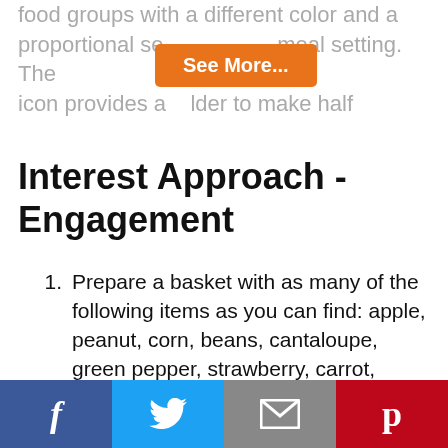food groups with a different color and a proportional se... meal setting. The icon provides a... lder to make half
[Figure (other): Orange 'See More...' button overlay]
Interest Approach - Engagement
Prepare a basket with as many of the following items as you can find: apple, peanut, corn, beans, cantaloupe, green pepper, strawberry, carrot, potato, tomato, eggs, onion, watermelon, popcorn, rice, hot dogs, and ham. You may call on parents or volunteers to help provide these items. As an alternative, you could also use pictures or cards from the Food Models Kit.
Facebook | Twitter | Email | Pinterest social share bar